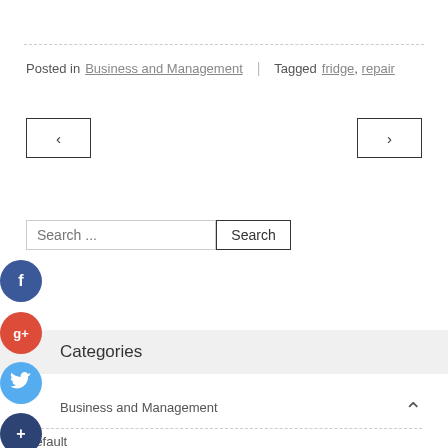Posted in Business and Management | Tagged fridge, repair
[Figure (other): Previous page navigation button with left arrow (<)]
[Figure (other): Next page navigation button with right arrow (>)]
[Figure (other): Search input field with placeholder 'Search ...' and Search button]
[Figure (other): Facebook social share button (blue circle with f icon)]
[Figure (other): Google+ social share button (red circle with g+ icon)]
[Figure (other): Twitter social share button (blue circle with bird icon)]
[Figure (other): Add/share button (dark blue circle with + icon)]
Categories
Business and Management
Default